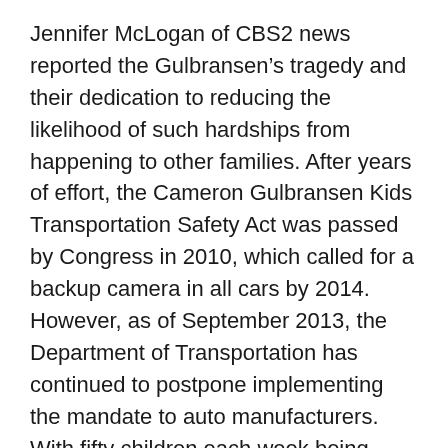Jennifer McLogan of CBS2 news reported the Gulbransen's tragedy and their dedication to reducing the likelihood of such hardships from happening to other families. After years of effort, the Cameron Gulbransen Kids Transportation Safety Act was passed by Congress in 2010, which called for a backup camera in all cars by 2014. However, as of September 2013, the Department of Transportation has continued to postpone implementing the mandate to auto manufacturers. With fifty children each week being treated in the United States emergency rooms as a result of being crushed under the wheels of a family member's vehicle, and until all vehicles are equipped with backup cameras, drivers need to examine the techniques they use when backing. The blind area to the rear of most cars and SUVs is dependent upon the configuration of the rear window and